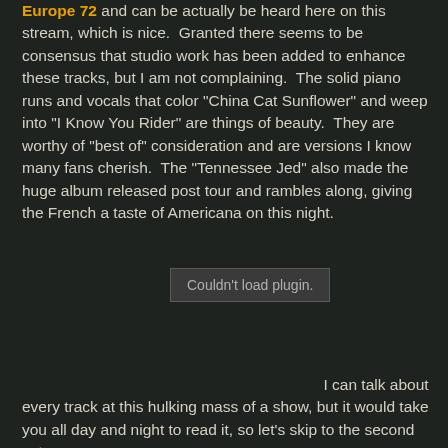Europe 72 and can be actually be heard here on this stream, which is nice.  Granted there seems to be consensus that studio work has been added to enhance these tracks, but I am not complaining.  The solid piano runs and vocals that color "China Cat Sunflower" and weep into "I Know You Rider" are things of beauty.  They are worthy of "best of" consideration and are versions I know many fans cherish.  The "Tennessee Jed" also made the huge album released post tour and rambles along, giving the French a taste of Americana on this night.
[Figure (other): Plugin placeholder box showing 'Couldn't load plugin.']
I can talk about every track at this hulking mass of a show, but it would take you all day and night to read it, so let's skip to the second set